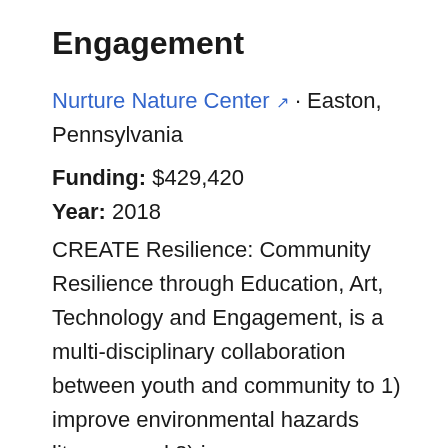Engagement
Nurture Nature Center · Easton, Pennsylvania
Funding: $429,420
Year: 2018
CREATE Resilience: Community Resilience through Education, Art, Technology and Engagement, is a multi-disciplinary collaboration between youth and community to 1) improve environmental hazards literacy, and 2) increase engagement in resiliency actions by youth and adult residents in the Lehigh Valley region of Pennsylvania. CREATE Resilience is